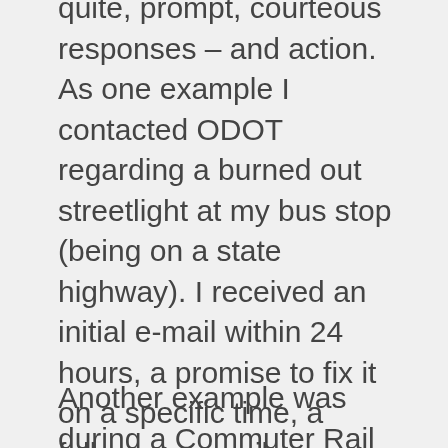quite, prompt, courteous responses – and action. As one example I contacted ODOT regarding a burned out streetlight at my bus stop (being on a state highway). I received an initial e-mail within 24 hours, a promise to fix it on a specific time, a follow-up e-mail apologizing for the delay, and it was fixed. Even though it required a specialized electrical crew with a high-reach cherry picker, since the particular lights are mounted higher than a normal streetlight.
Another example was during a Commuter Rail project meeting in Tualatin a few years ago (long before